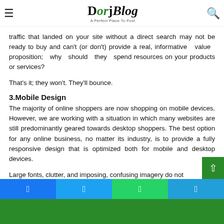DorjBlog — A Perfect Place To Post
traffic that landed on your site without a direct search may not be ready to buy and can't (or don't) provide a real, informative value proposition; why should they spend resources on your products or services?
That's it; they won't. They'll bounce.
3.Mobile Design
The majority of online shoppers are now shopping on mobile devices. However, we are working with a situation in which many websites are still predominantly geared towards desktop shoppers. The best option for any online business, no matter its industry, is to provide a fully responsive design that is optimized both for mobile and desktop devices.
Large fonts, clutter, and imposing, confusing imagery do not